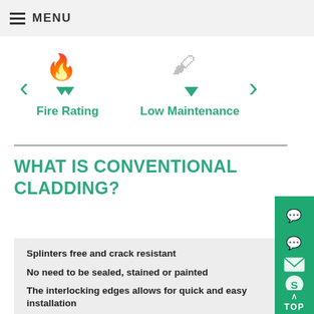MENU
[Figure (infographic): Navigation carousel showing Fire Rating (flame icon, left arrow) and Low Maintenance (brush icon, right arrow) with green chevron/triangle icons]
WHAT IS CONVENTIONAL CLADDING?
Splinters free and crack resistant
No need to be sealed, stained or painted
The interlocking edges allows for quick and easy installation
[Figure (infographic): Green sidebar with contact icons: phone/WhatsApp, WeChat, email/envelope, Skype, and TOP/up arrow button]